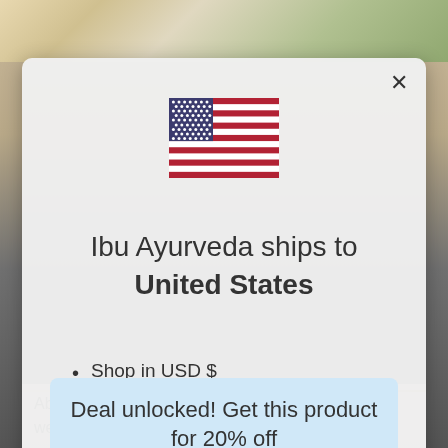[Figure (screenshot): Modal dialog showing US flag and shipping message for Ibu Ayurveda]
Ibu Ayurveda ships to United States
Shop in USD $
Get shipping options for United States
Deal unlocked! Get this product for 20% off
HURRY! OFFER WILL EXPRES IN 04:59
Questions? We can help.
Chat with us now.
See Offer
Absolutely from the bottom. We do recommend wearing